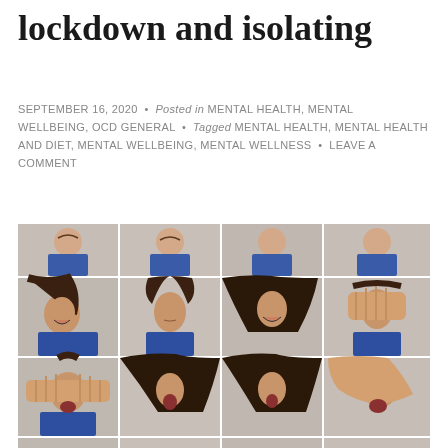lockdown and isolating
SEPTEMBER 16, 2020 • Posted in MENTAL HEALTH, MENTAL WELLBEING, OCD GENERAL • Tagged MENTAL HEALTH, MENTAL HEALTH AND DIET, MENTAL WELLBEING, MENTAL WELLNESS • LEAVE A COMMENT
[Figure (photo): A 4x4 grid of portrait photos showing a young woman with long dark hair displaying various facial expressions and emotions — laughing, serious, surprised, covering eyes with hands, smiling, distressed, covering face — against a white/grey background.]